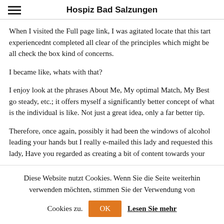Hospiz Bad Salzungen
When I visited the Full page link, I was agitated locate that this tart experiencednt completed all clear of the principles which might be all check the box kind of concerns.
I became like, whats with that?
I enjoy look at the phrases About Me, My optimal Match, My Best go steady, etc.; it offers myself a significantly better concept of what is the individual is like. Not just a great idea, only a far better tip.
Therefore, once again, possibly it had been the windows of alcohol leading your hands but I really e-mailed this lady and requested this lady, Have you regarded as creating a bit of content towards your
Diese Website nutzt Cookies. Wenn Sie die Seite weiterhin verwenden möchten, stimmen Sie der Verwendung von Cookies zu. OK Lesen Sie mehr